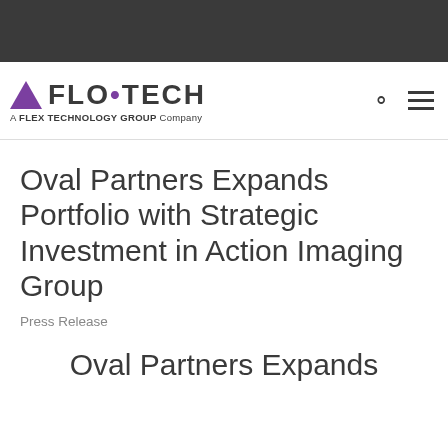[Figure (logo): Flo-Tech logo with purple triangle, FLO•TECH text, and tagline 'A FLEX TECHNOLOGY GROUP Company']
Oval Partners Expands Portfolio with Strategic Investment in Action Imaging Group
Press Release
Oval Partners Expands